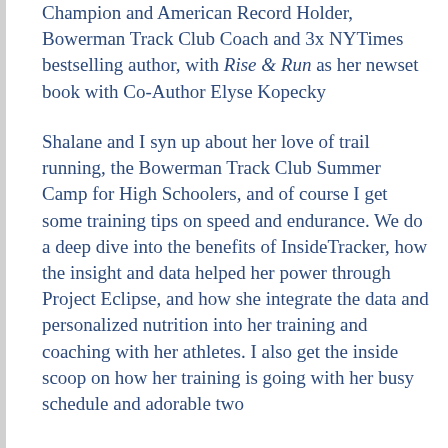Champion and American Record Holder, Bowerman Track Club Coach and 3x NYTimes bestselling author, with Rise & Run as her newset book with Co-Author Elyse Kopecky
Shalane and I syn up about her love of trail running, the Bowerman Track Club Summer Camp for High Schoolers, and of course I get some training tips on speed and endurance. We do a deep dive into the benefits of InsideTracker, how the insight and data helped her power through Project Eclipse, and how she integrate the data and personalized nutrition into her training and coaching with her athletes. I also get the inside scoop on how her training is going with her busy schedule and adorable two